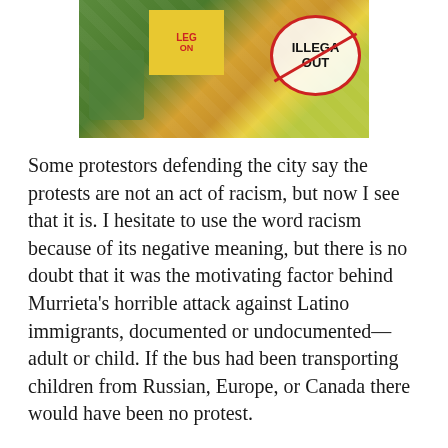[Figure (photo): Protest scene showing demonstrators with signs. A circular sign with red border reads 'ILLEGA OUT' with a red diagonal slash, and a yellow sign is visible in the background with red text.]
Some protestors defending the city say the protests are not an act of racism, but now I see that it is. I hesitate to use the word racism because of its negative meaning, but there is no doubt that it was the motivating factor behind Murrieta's horrible attack against Latino immigrants, documented or undocumented—adult or child. If the bus had been transporting children from Russian, Europe, or Canada there would have been no protest.
EE: How were you able to restrain yourself while being attacked?
LR: [He sighed, with tears in his eyes] I have to admit, getting spit on, criticized... it hurt... it hurt a lot. But I'm a grown man and I can handle it. I can walk away. My